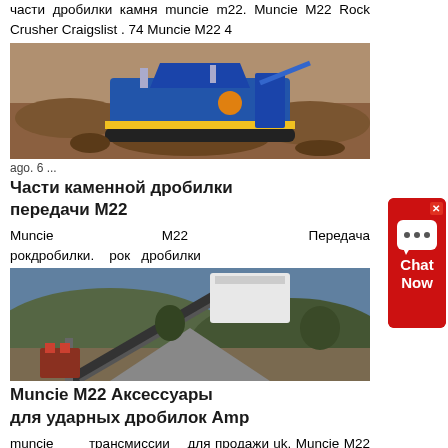части дробилки камня muncie m22. Muncie M22 Rock Crusher Craigslist . 74 Muncie M22 4
[Figure (photo): Blue rock crusher machine on tracks in a rocky terrain outdoors]
аgo. 6 ...
Части каменной дробилки передачи М22
Muncie M22 Передача рокдробилки. рок дробилки
[Figure (photo): Industrial conveyor belt and machinery at a processing site outdoors]
Muncie M22 Аксессуары для ударных дробилок Amp
muncie трансмиссии для продажи uk. Muncie M22 Rock Crusher...